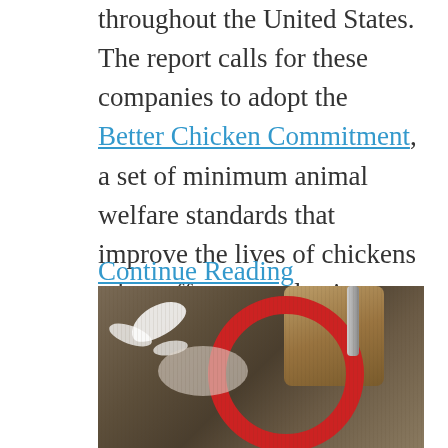throughout the United States. The report calls for these companies to adopt the Better Chicken Commitment, a set of minimum animal welfare standards that improve the lives of chickens who suffer every day in factory farms.
Continue Reading
[Figure (photo): A chicken lying on a dirt/grain-covered floor with white feathers scattered around it. A red circular feeder and what appears to be a metal tube or pipe are visible in the upper right portion of the image.]